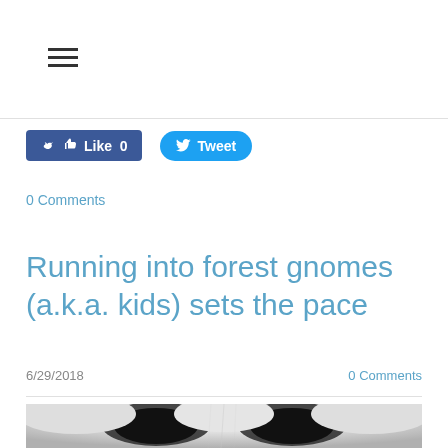[Figure (other): Hamburger menu icon (three horizontal lines)]
[Figure (other): Facebook Like button showing '0' and Twitter Tweet button]
0 Comments
Running into forest gnomes (a.k.a. kids) sets the pace
6/29/2018    0 Comments
[Figure (photo): Close-up photo of a white fluffy dog (appears to be a Samoyed or similar breed) showing its face with dark eyes and black markings around the eyes, with white fur filling the frame]